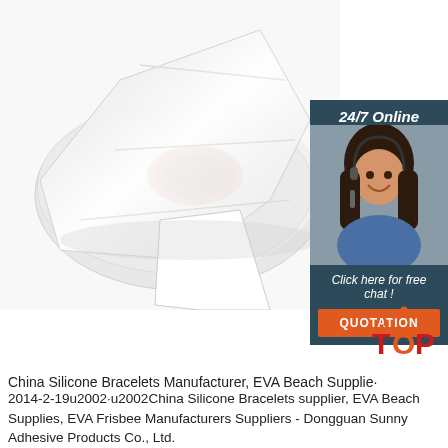[Figure (photo): Roll of white RFID/NFC label stickers with labels peeling off, on white background]
[Figure (infographic): Sidebar banner: 24/7 Online, woman with headset (customer service), Click here for free chat!, QUOTATION button]
[Figure (logo): TOP logo with orange dots forming triangle, red T, orange O, red P text]
China Silicone Bracelets Manufacturer, EVA Beach Supplie·
2014-2-19u2002·u2002China Silicone Bracelets supplier, EVA Beach Supplies, EVA Frisbee Manufacturers Suppliers - Dongguan Sunny Adhesive Products Co., Ltd.